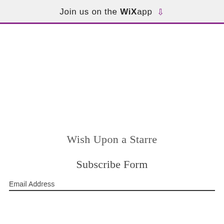Join us on the WiX app ↓
Wish Upon a Starre
Subscribe Form
Email Address